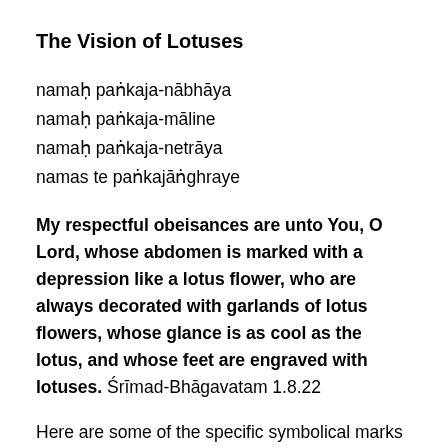The Vision of Lotuses
namaḥ paṅkaja-nābhāya
namaḥ paṅkaja-māline
namaḥ paṅkaja-netrāya
namas te paṅkajāṅghraye
My respectful obeisances are unto You, O Lord, whose abdomen is marked with a depression like a lotus flower, who are always decorated with garlands of lotus flowers, whose glance is as cool as the lotus, and whose feet are engraved with lotuses. Śrīmad-Bhāgavatam 1.8.22
Here are some of the specific symbolical marks on the spiritual body of the Personality of Godhead which distinguishes His body from the bodies of all others. They